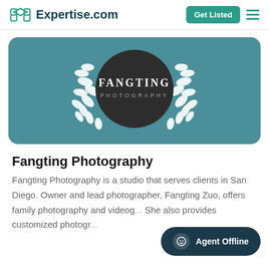Expertise.com
[Figure (logo): Fangting Photography logo: dark circle with laurel wreath and text FANGTING PHOTOGRAPHY on teal banner background]
Fangting Photography
Fangting Photography is a studio that serves clients in San Diego. Owner and lead photographer, Fangting Zuo, offers family photography and videog... She also provides customized photogr...